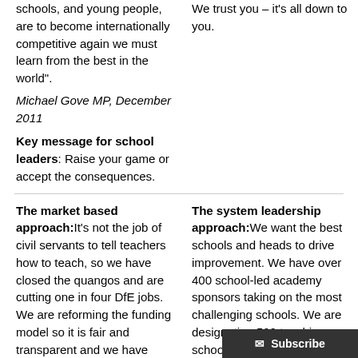schools, and young people, are to become internationally competitive again we must learn from the best in the world".
Michael Gove MP, December 2011
Key message for school leaders: Raise your game or accept the consequences.
We trust you – it's all down to you.
The market based approach: It's not the job of civil servants to tell teachers how to teach, so we have closed the quangos and are cutting one in four DfE jobs. We are reforming the funding model so it is fair and transparent and we have introduced the Pupil Premium to ensure equity. Our
The system leadership approach: We want the best schools and heads to drive improvement. We have over 400 school-led academy sponsors taking on the most challenging schools. We are designating 500 teaching schools and giving them a key role in professional development and school support. We are desig